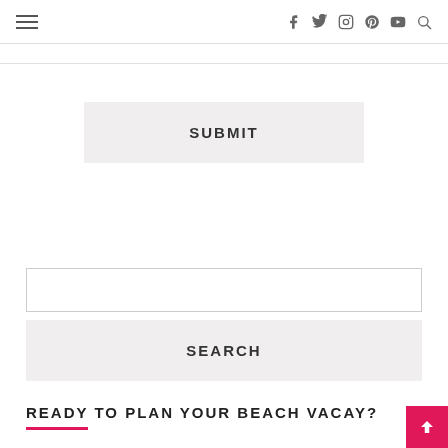≡  f  tw  ig  pt  yt  🔍
SUBMIT
SEARCH
READY TO PLAN YOUR BEACH VACAY?